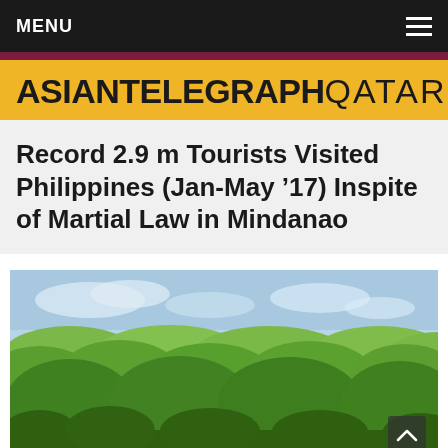MENU
ASIANTELEGRAPH QATAR
Record 2.9 m Tourists Visited Philippines (Jan-May '17) Inspite of Martial Law in Mindanao
[Figure (photo): Aerial landscape photo of the Chocolate Hills in Bohol, Philippines — dozens of rounded green hills under a light blue sky]